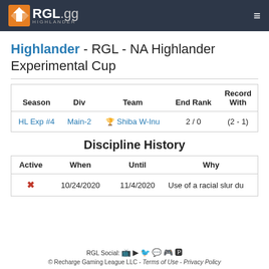RGL.gg HIGHLANDER
Highlander - RGL - NA Highlander Experimental Cup
| Season | Div | Team | End Rank | Record With |
| --- | --- | --- | --- | --- |
| HL Exp #4 | Main-2 | 🏆 Shiba W-Inu | 2 / 0 | (2 - 1) |
Discipline History
| Active | When | Until | Why |
| --- | --- | --- | --- |
| ✗ | 10/24/2020 | 11/4/2020 | Use of a racial slur du... |
RGL Social: [icons] © Recharge Gaming League LLC - Terms of Use - Privacy Policy